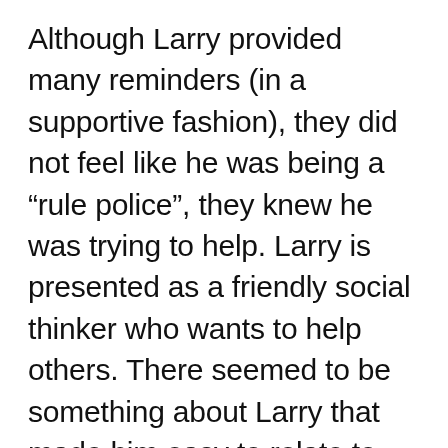Although Larry provided many reminders (in a supportive fashion), they did not feel like he was being a “rule police”, they knew he was trying to help. Larry is presented as a friendly social thinker who wants to help others. There seemed to be something about Larry that made him easy to relate to and less intimidating than adults.

Through Larry we helped the